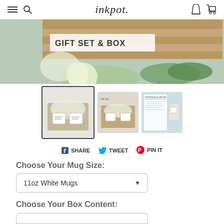inkpot.
[Figure (photo): Product photo showing GIFT SET & BOX label on a cardboard box with tissue paper, a white/yellow flower, and green eucalyptus leaves]
[Figure (photo): Thumbnail row: first selected thumbnail shows two white mugs in a gift box; second thumbnail shows mugs with packaging; third thumbnail shows product description sheet with small mug photo]
f SHARE   TWEET   PIN IT
Choose Your Mug Size:
11oz White Mugs
Choose Your Box Content: